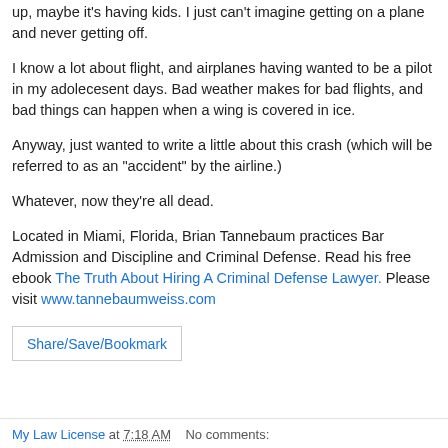up, maybe it's having kids. I just can't imagine getting on a plane and never getting off.
I know a lot about flight, and airplanes having wanted to be a pilot in my adolecesent days. Bad weather makes for bad flights, and bad things can happen when a wing is covered in ice.
Anyway, just wanted to write a little about this crash (which will be referred to as an "accident" by the airline.)
Whatever, now they're all dead.
Located in Miami, Florida, Brian Tannebaum practices Bar Admission and Discipline and Criminal Defense. Read his free ebook The Truth About Hiring A Criminal Defense Lawyer. Please visit www.tannebaumweiss.com
[Figure (other): Share/Save/Bookmark button image inside a bordered box]
My Law License at 7:18 AM   No comments: